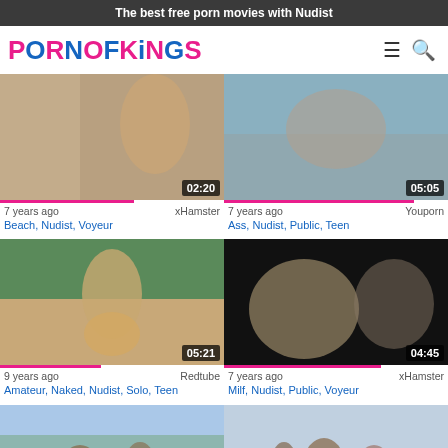The best free porn movies with Nudist
[Figure (screenshot): PornOfKings website logo with hamburger menu and search icon]
[Figure (screenshot): Video thumbnail with duration 02:20]
7 years ago   xHamster
Beach, Nudist, Voyeur
[Figure (screenshot): Video thumbnail with duration 05:05]
7 years ago   Youporn
Ass, Nudist, Public, Teen
[Figure (screenshot): Video thumbnail with duration 05:21]
9 years ago   Redtube
Amateur, Naked, Nudist, Solo, Teen
[Figure (screenshot): Video thumbnail with duration 04:45]
7 years ago   xHamster
Milf, Nudist, Public, Voyeur
[Figure (screenshot): Beach video thumbnail bottom left]
[Figure (screenshot): Beach video thumbnail bottom right with scroll-to-top button]